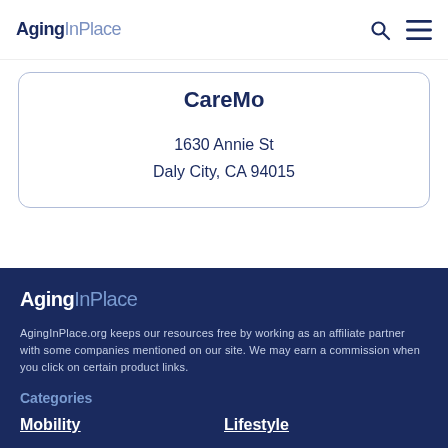AgingInPlace
CareMo
1630 Annie St
Daly City, CA 94015
[Figure (logo): AgingInPlace footer logo in white and blue on dark navy background]
AgingInPlace.org keeps our resources free by working as an affiliate partner with some companies mentioned on our site. We may earn a commission when you click on certain product links.
Categories
Mobility
Lifestyle